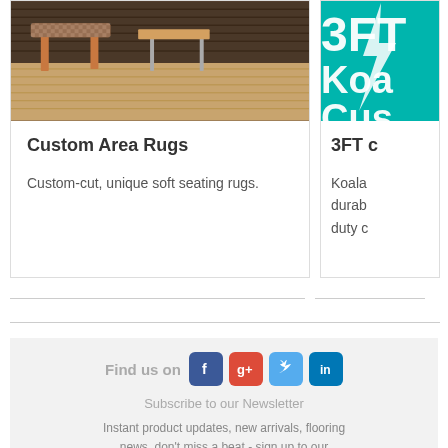[Figure (photo): Photo of area rug on dark wood floor under wooden furniture]
Custom Area Rugs
Custom-cut, unique soft seating rugs.
[Figure (photo): Partially visible product image with teal 3FT Koa Cus text overlay]
3FT c
Koala durab duty c
Find us on
[Figure (logo): Social media icons: Facebook, Google+, Twitter, LinkedIn]
Subscribe to our Newsletter
Instant product updates, new arrivals, flooring news, don't miss a beat - sign up to our newsletter now.